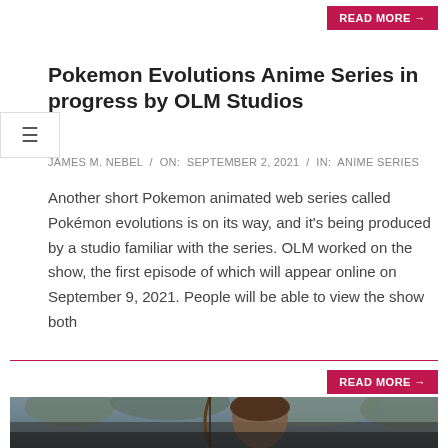READ MORE →
Pokemon Evolutions Anime Series in progress by OLM Studios
JAMES M. NEBEL  /  ON:  SEPTEMBER 2, 2021  /  IN:  ANIME SERIES
Another short Pokemon animated web series called Pokémon evolutions is on its way, and it's being produced by a studio familiar with the series. OLM worked on the show, the first episode of which will appear online on September 9, 2021. People will be able to view the show both
READ MORE →
[Figure (photo): A person (appearing to be a young woman with brown hair) holding a bow, viewed from below against a background of trees. Appears to be a video game screenshot.]